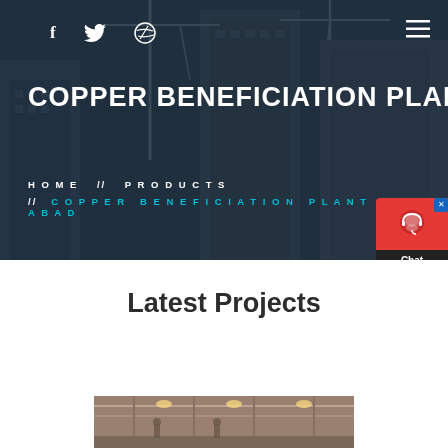[Figure (photo): Hero background image of construction site with cranes and modern buildings, dark blue overlay]
f  twitter  dribbble  ≡
COPPER BENEFICIATION PLANT
HOME // PRODUCTS // COPPER BENEFICIATION PLANT ISLAMABAD
[Figure (other): Chat Now widget with red background and dark bottom section]
Latest Projects
[Figure (photo): Interior photo of industrial/engineering facility]